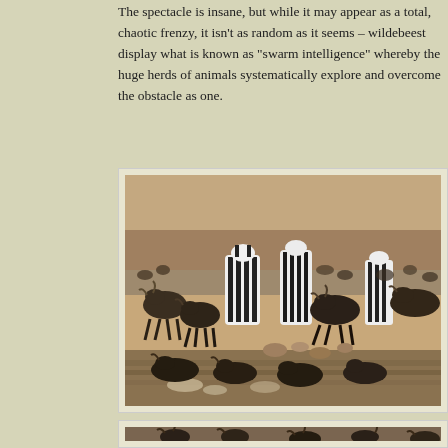The spectacle is insane, but while it may appear as a total, chaotic frenzy, it isn't as random as it seems – wildebeest display what is known as "swarm intelligence" whereby the huge herds of animals systematically explore and overcome the obstacle as one.
[Figure (photo): Large herd of wildebeest and zebras crossing a rocky river, crowded together at the bank with splashing water visible in the foreground]
[Figure (photo): Wildebeest crossing a river, partially cropped at bottom of page, showing horned animals wading through muddy water]